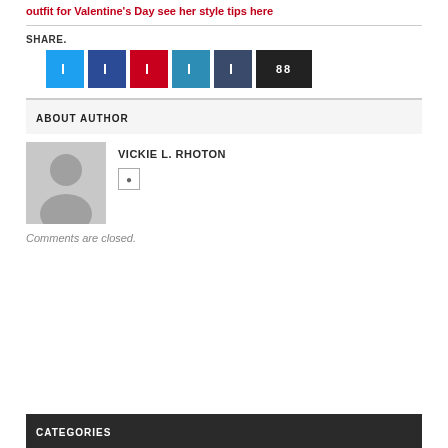outfit for Valentine's Day see her style tips here
SHARE.
[Figure (other): Six social share buttons: Twitter (light blue), Facebook (dark blue), Pinterest (red), LinkedIn (teal), Tumblr (dark blue-grey), share count 88 (black)]
ABOUT AUTHOR
[Figure (photo): Default user avatar: grey silhouette of a person on grey background]
VICKIE L. RHOTON
Comments are closed.
CATEGORIES